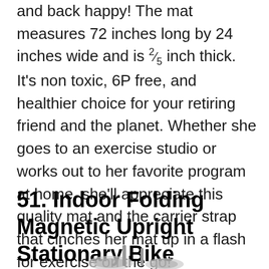and back happy! The mat measures 72 inches long by 24 inches wide and is ⅖ inch thick. It's non toxic, 6P free, and healthier choice for your retiring friend and the planet. Whether she goes to an exercise studio or works out to her favorite program at home, she'll appreciate this quality mat and the carrier strap that cinches her mat up in a flash for exercise on the go!
51. Indoor Folding Magnetic Upright Stationary Bike
[Figure (photo): Partial view of an indoor folding magnetic upright stationary bike, cropped at the bottom of the page]